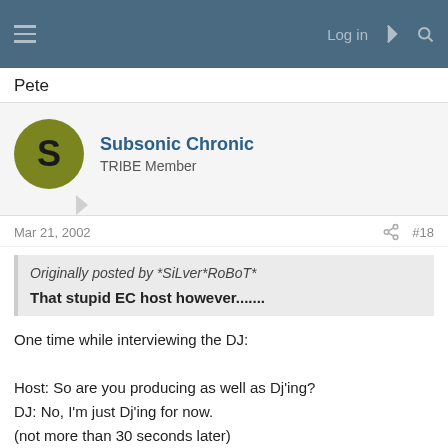Log in
Pete
Subsonic Chronic
TRIBE Member
Mar 21, 2002   #18
Originally posted by *SiLver*RoBoT*

That stupid EC host however.......
One time while interviewing the DJ:

Host: So are you producing as well as Dj'ing?
DJ: No, I'm just Dj'ing for now.
(not more than 30 seconds later)
Host: So tell me more about your upcoming production work.